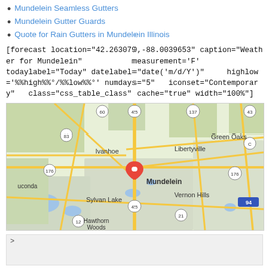Mundelein Seamless Gutters
Mundelein Gutter Guards
Quote for Rain Gutters in Mundelein Illinois
[forecast location="42.263079,-88.0039653" caption="Weather for Mundelein" measurement='F' todaylabel="Today" datelabel="date('m/d/Y')" highlow='%%high%%°/%%low%%°' numdays="5" iconset="Contemporary" class="css_table_class" cache="true" width="100%"]
[Figure (map): Google Map showing Mundelein, Illinois area with surrounding communities including Libertyville, Ivanhoe, Green Oaks, Vernon Hills, Sylvan Lake, Hawthorn Woods. A red location pin marks Mundelein center. Roads and highways including 45, 137, 176, 83, 12, 94 are visible.]
>